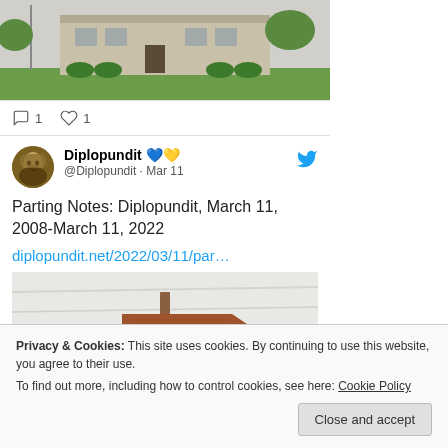[Figure (photo): Partial top photo of a building with green lawn and trees, cropped at top]
1  1
Diplopundit 💙💛 @Diplopundit · Mar 11
Parting Notes: Diplopundit, March 11, 2008-March 11, 2022 diplopundit.net/2022/03/11/par…
[Figure (photo): Rustic wooden directional arrow sign against a snowy/light background]
Privacy & Cookies: This site uses cookies. By continuing to use this website, you agree to their use.
To find out more, including how to control cookies, see here: Cookie Policy
Close and accept
Parting Notes: Diplopundit, March 11,